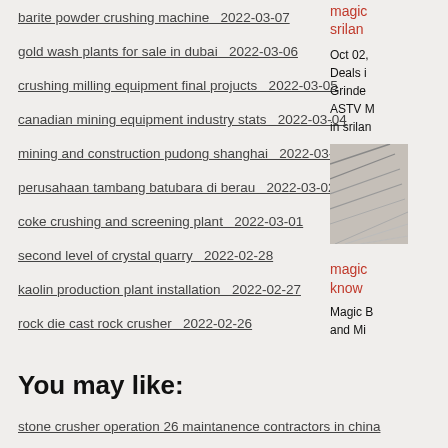barite powder crushing machine  2022-03-07
gold wash plants for sale in dubai  2022-03-06
crushing milling equipment final projucts  2022-03-05
canadian mining equipment industry stats  2022-03-04
mining and construction pudong shanghai  2022-03-03
perusahaan tambang batubara di berau  2022-03-02
coke crushing and screening plant  2022-03-01
second level of crystal quarry  2022-02-28
kaolin production plant installation  2022-02-27
rock die cast rock crusher  2022-02-26
magic... srilan...
Oct 02, Deals i... Grinder... ASTV M... in srila...
[Figure (photo): Partial image of machinery or industrial equipment visible on right side]
You may like:
magic... know...
Magic B... and Mi...
stone crusher operation 26 maintanence contractors in china